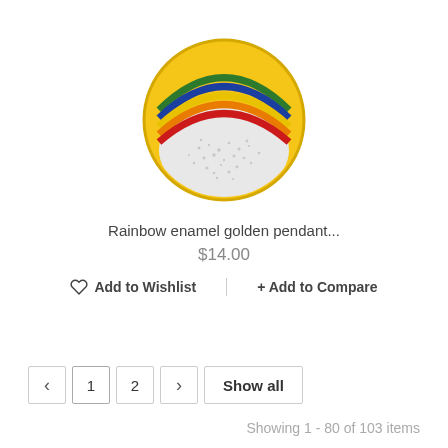[Figure (photo): Rainbow enamel golden pendant with colored stripes (green, blue, yellow, orange, red) and crystal/rhinestone lower half on a circular gold coin shape]
Rainbow enamel golden pendant...
$14.00
♡ Add to Wishlist  |  + Add to Compare
Compare (0) ›
‹  1  2  ›  Show all
Showing 1 - 80 of 103 items